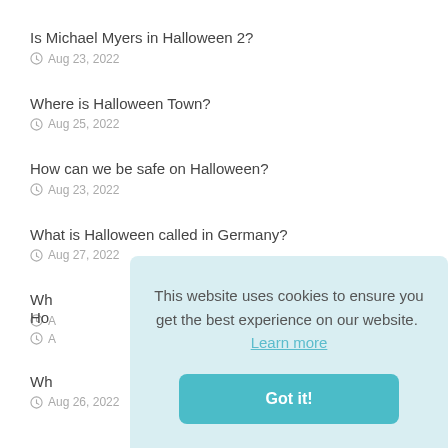Is Michael Myers in Halloween 2?
Aug 23, 2022
Where is Halloween Town?
Aug 25, 2022
How can we be safe on Halloween?
Aug 23, 2022
What is Halloween called in Germany?
Aug 27, 2022
Wh[partially obscured]
A[partially obscured]
Ho[partially obscured]
A[partially obscured]
Wh[partially obscured]
Aug 26, 2022
This website uses cookies to ensure you get the best experience on our website. Learn more
Got it!